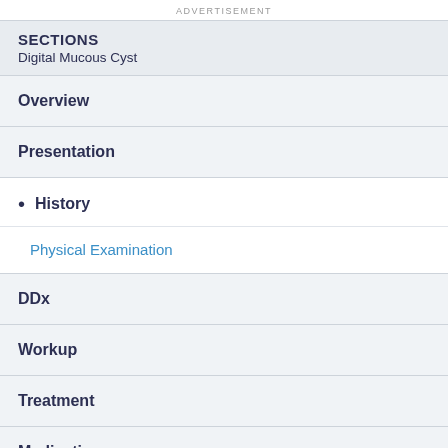ADVERTISEMENT
SECTIONS
Digital Mucous Cyst
Overview
Presentation
History
Physical Examination
DDx
Workup
Treatment
Medication